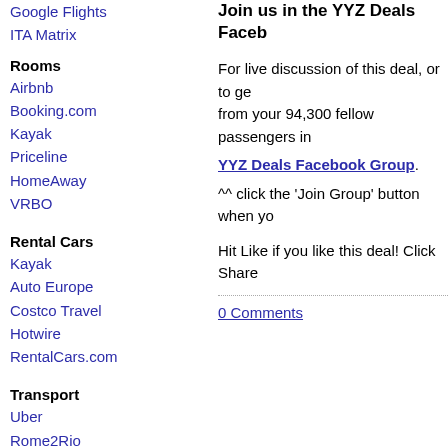Google Flights
ITA Matrix
Rooms
Airbnb
Booking.com
Kayak
Priceline
HomeAway
VRBO
Rental Cars
Kayak
Auto Europe
Costco Travel
Hotwire
RentalCars.com
Transport
Uber
Rome2Rio
Reviews
TripAdvisor
Yelp
Trip Planning
Join us in the YYZ Deals Faceb...
For live discussion of this deal, or to ge... from your 94,300 fellow passengers in...
YYZ Deals Facebook Group.
^^ click the 'Join Group' button when yo...
Hit Like if you like this deal! Click Share...
0 Comments